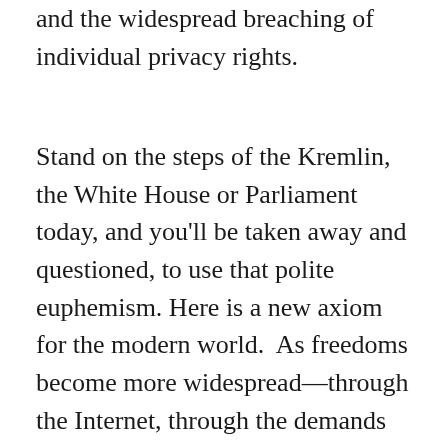and the widespread breaching of individual privacy rights.
Stand on the steps of the Kremlin, the White House or Parliament today, and you'll be taken away and questioned, to use that polite euphemism. Here is a new axiom for the modern world.  As freedoms become more widespread—through the Internet, through the demands of citizens for more rights everywhere from Taksim Square to Raisina Hill—the tendency of countries to treat their citizens with